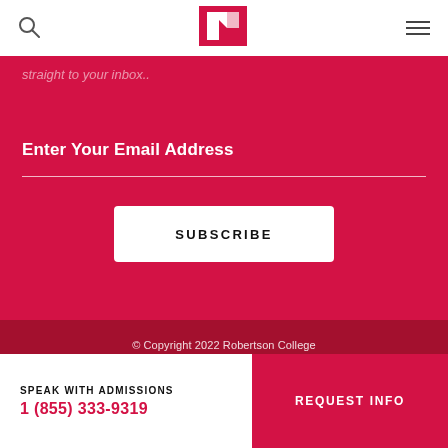[Search icon] [Robertson College logo] [Menu icon]
straight to your inbox..
Enter Your Email Address
SUBSCRIBE
© Copyright 2022 Robertson College All rights reserved. Privacy Policy
[Figure (infographic): Social media icons: Facebook, Twitter, Instagram, LinkedIn, YouTube]
SPEAK WITH ADMISSIONS
1 (855) 333-9319
REQUEST INFO